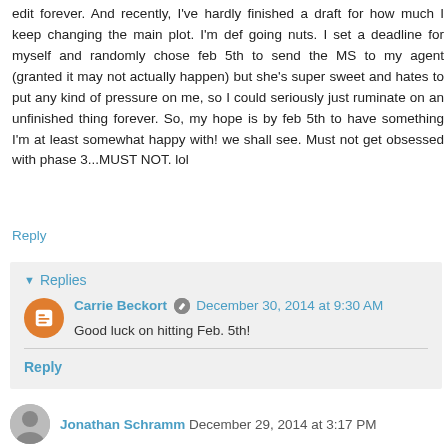edit forever. And recently, I've hardly finished a draft for how much I keep changing the main plot. I'm def going nuts. I set a deadline for myself and randomly chose feb 5th to send the MS to my agent (granted it may not actually happen) but she's super sweet and hates to put any kind of pressure on me, so I could seriously just ruminate on an unfinished thing forever. So, my hope is by feb 5th to have something I'm at least somewhat happy with! we shall see. Must not get obsessed with phase 3...MUST NOT. lol
Reply
Replies
Carrie Beckort December 30, 2014 at 9:30 AM
Good luck on hitting Feb. 5th!
Reply
Jonathan Schramm December 29, 2014 at 3:17 PM